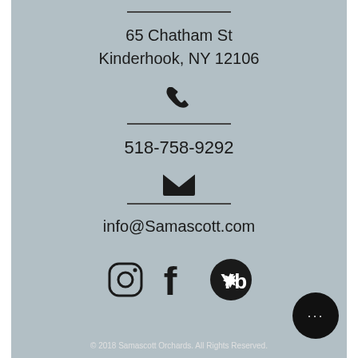65 Chatham St
Kinderhook, NY 12106
518-758-9292
info@Samascott.com
[Figure (infographic): Social media icons: Instagram, Facebook, Yelp]
© 2018 Samascott Orchards. All Rights Reserved.